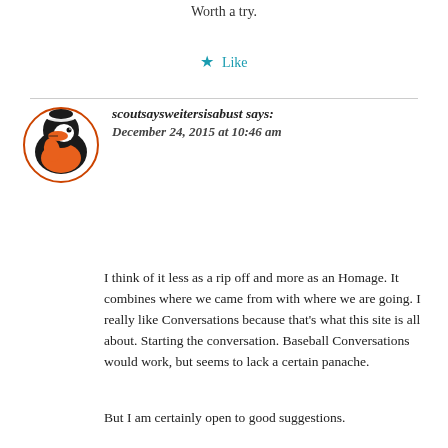Worth a try.
★ Like
scoutsaysweitersisabust says:
December 24, 2015 at 10:46 am
I think of it less as a rip off and more as an Homage. It combines where we came from with where we are going. I really like Conversations because that's what this site is all about. Starting the conversation. Baseball Conversations would work, but seems to lack a certain panache.
But I am certainly open to good suggestions.